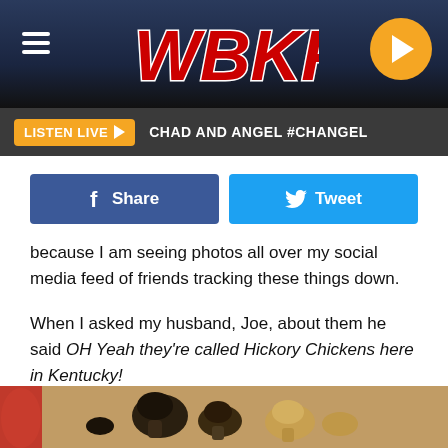WBKR
LISTEN LIVE ▶   CHAD AND ANGEL #CHANGEL
[Figure (screenshot): Facebook Share and Twitter Tweet buttons]
because I am seeing photos all over my social media feed of friends tracking these things down.
When I asked my husband, Joe, about them he said OH Yeah they're called Hickory Chickens here in Kentucky!
And he was right I looked it up and sure enough, the name originated in Eastern Kentucky where they are often found in the mountains.
[Figure (photo): Morel mushrooms on a wooden cutting board with a red bowl partially visible]